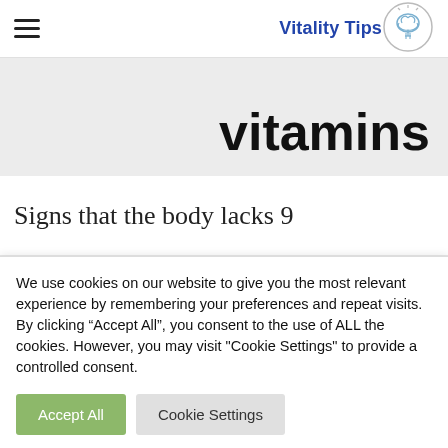Vitality Tips
vitamins
Signs that the body lacks 9
We use cookies on our website to give you the most relevant experience by remembering your preferences and repeat visits. By clicking “Accept All”, you consent to the use of ALL the cookies. However, you may visit "Cookie Settings" to provide a controlled consent.
Accept All   Cookie Settings